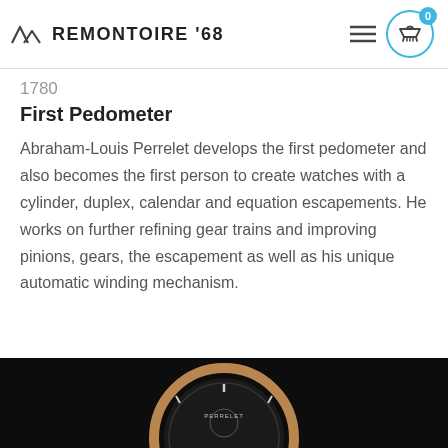REMONTOIRE '68
1780
First Pedometer
Abraham-Louis Perrelet develops the first pedometer and also becomes the first person to create watches with a cylinder, duplex, calendar and equation escapements. He works on further refining gear trains and improving pinions, gears, the escapement as well as his unique automatic winding mechanism.
[Figure (photo): Close-up of a luxury watch with black dial and rose gold bezel on a dark background]